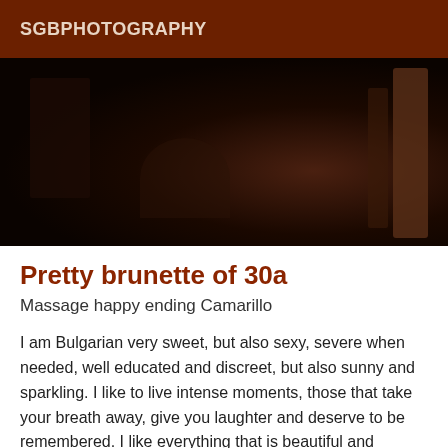SGBPHOTOGRAPHY
[Figure (photo): Dark moody photograph, mostly black with hints of brown wooden structures, very low lighting]
Pretty brunette of 30a
Massage happy ending Camarillo
I am Bulgarian very sweet, but also sexy, severe when needed, well educated and discreet, but also sunny and sparkling. I like to live intense moments, those that take your breath away, give you laughter and deserve to be remembered. I like everything that is beautiful and harmonious, I like real gentlemen and good conversation. I put passion in everything I do. My photos